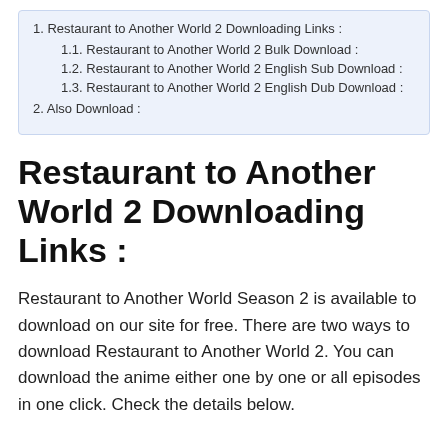1. Restaurant to Another World 2 Downloading Links :
1.1. Restaurant to Another World 2 Bulk Download :
1.2. Restaurant to Another World 2 English Sub Download :
1.3. Restaurant to Another World 2 English Dub Download :
2. Also Download :
Restaurant to Another World 2 Downloading Links :
Restaurant to Another World Season 2 is available to download on our site for free. There are two ways to download Restaurant to Another World 2. You can download the anime either one by one or all episodes in one click. Check the details below.